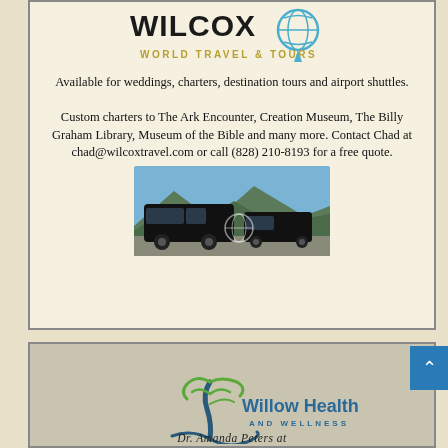[Figure (logo): Wilcox World Travel & Tours logo with globe icon]
Available for weddings, charters, destination tours and airport shuttles.
Custom charters to The Ark Encounter, Creation Museum, The Billy Graham Library, Museum of the Bible and many more. Contact Chad at chad@wilcoxtravel.com or call (828) 210-8193 for a free quote.
[Figure (photo): Two black charter buses/vans parked outdoors with mountain scenery in background]
[Figure (logo): Willow Health and Wellness logo with stylized tree]
Dr. Amanda Peters at